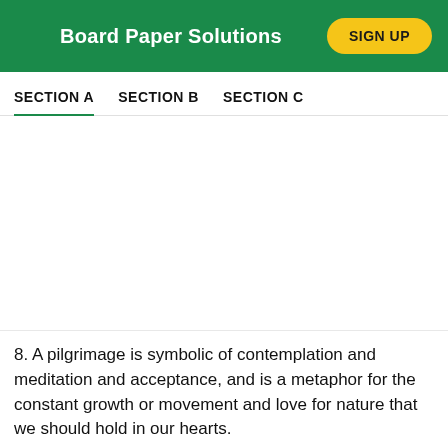Board Paper Solutions
SECTION A   SECTION B   SECTION C
8. A pilgrimage is symbolic of contemplation and meditation and acceptance, and is a metaphor for the constant growth or movement and love for nature that we should hold in our hearts.